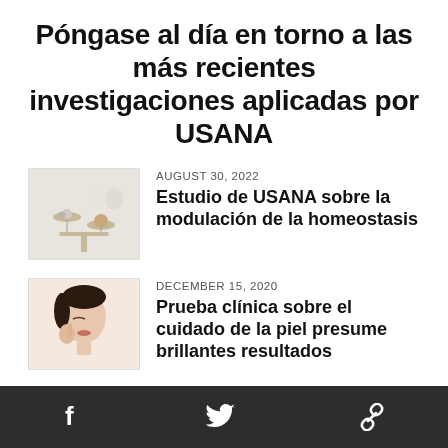Póngase al día en torno a las más recientes investigaciones aplicadas por USANA
[Figure (photo): Small thumbnail image of a balance scale with stones on a light background]
AUGUST 30, 2022
Estudio de USANA sobre la modulación de la homeostasis
[Figure (photo): Small thumbnail image of a woman touching her face with a skincare pose on a light peach background]
DECEMBER 15, 2020
Prueba clínica sobre el cuidado de la piel presume brillantes resultados
f  Twitter  Link icons